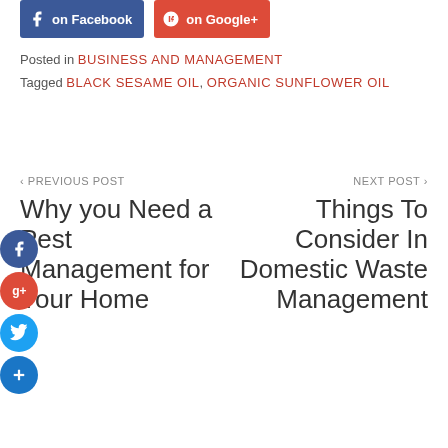[Figure (other): Social share buttons: Facebook 'on Facebook' and Google+ 'on Google+' buttons at top of page]
Posted in BUSINESS AND MANAGEMENT
Tagged BLACK SESAME OIL, ORGANIC SUNFLOWER OIL
‹ PREVIOUS POST
NEXT POST ›
Why you Need a Pest Management for Your Home
Things To Consider In Domestic Waste Management
[Figure (other): Floating social share circle icons: Facebook (blue), Google+ (red), Twitter (blue), Add/Plus (blue)]